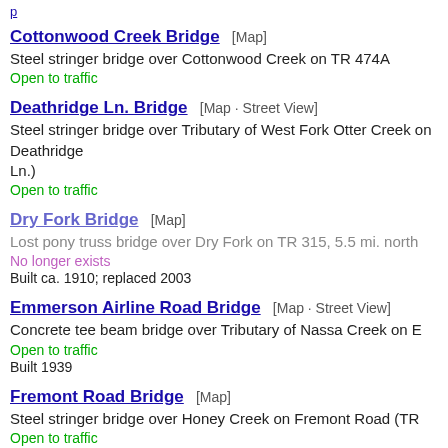p (truncated top link)
Cottonwood Creek Bridge  [Map]
Steel stringer bridge over Cottonwood Creek on TR 474A
Open to traffic
Deathridge Ln. Bridge  [Map · Street View]
Steel stringer bridge over Tributary of West Fork Otter Creek on Deathridge Ln.)
Open to traffic
Dry Fork Bridge  [Map]
Lost pony truss bridge over Dry Fork on TR 315, 5.5 mi. north
No longer exists
Built ca. 1910; replaced 2003
Emmerson Airline Road Bridge  [Map · Street View]
Concrete tee beam bridge over Tributary of Nassa Creek on E
Open to traffic
Built 1939
Fremont Road Bridge  [Map]
Steel stringer bridge over Honey Creek on Fremont Road (TR
Open to traffic
Built ca. 1930
Goose Creek Bridge  [Map]
Slab bridge over Goose Creek on Hunter Rd.